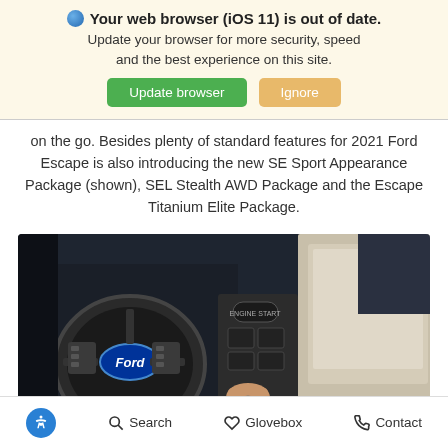Your web browser (iOS 11) is out of date. Update your browser for more security, speed and the best experience on this site. [Update browser] [Ignore]
on the go. Besides plenty of standard features for 2021 Ford Escape is also introducing the new SE Sport Appearance Package (shown), SEL Stealth AWD Package and the Escape Titanium Elite Package.
[Figure (photo): Interior of a Ford vehicle showing steering wheel with Ford logo, center console controls, and a passenger seat with cream/beige upholstery. A hand is visible near the center console controls.]
Accessibility Search Glovebox Contact